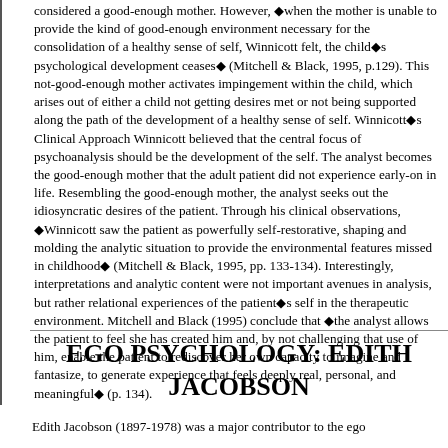considered a good-enough mother. However, ◆when the mother is unable to provide the kind of good-enough environment necessary for the consolidation of a healthy sense of self, Winnicott felt, the child◆s psychological development ceases◆ (Mitchell & Black, 1995, p.129). This not-good-enough mother activates impingement within the child, which arises out of either a child not getting desires met or not being supported along the path of the development of a healthy sense of self. Winnicott◆s Clinical Approach Winnicott believed that the central focus of psychoanalysis should be the development of the self. The analyst becomes the good-enough mother that the adult patient did not experience early-on in life. Resembling the good-enough mother, the analyst seeks out the idiosyncratic desires of the patient. Through his clinical observations, ◆Winnicott saw the patient as powerfully self-restorative, shaping and molding the analytic situation to provide the environmental features missed in childhood◆ (Mitchell & Black, 1995, pp. 133-134). Interestingly, interpretations and analytic content were not important avenues in analysis, but rather relational experiences of the patient◆s self in the therapeutic environment. Mitchell and Black (1995) conclude that ◆the analyst allows the patient to feel she has created him and, by not challenging that use of him, enable the patient to rediscover her own capacity to imagine and fantasize, to generate experience that feels deeply real, personal, and meaningful◆ (p. 134).
EGO PSYCHOLOGY: EDITH JACOBSON
Edith Jacobson (1897-1978) was a major contributor to the ego